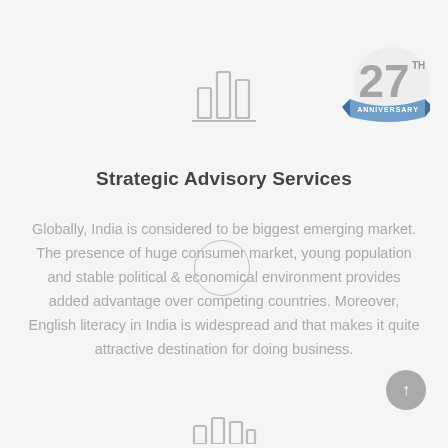[Figure (illustration): Bar chart icon in light gray, representing strategic advisory services]
[Figure (logo): 27th Anniversary badge/logo in silver and blue with ribbon]
Strategic Advisory Services
Globally, India is considered to be biggest emerging market. The presence of huge consumer market, young population and stable political & economical environment provides added advantage over competing countries. Moreover, English literacy in India is widespread and that makes it quite attractive destination for doing business.
[Figure (illustration): Partial bar chart icon visible at the bottom of the page]